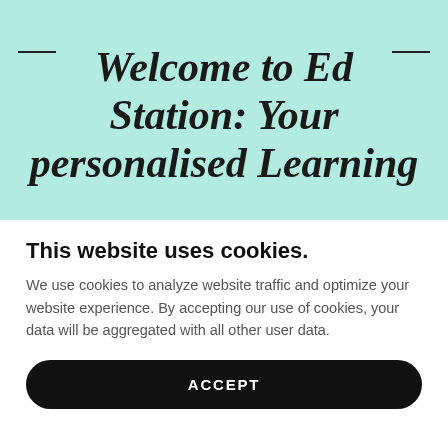Welcome to Ed Station: Your personalised Learning
This website uses cookies.
We use cookies to analyze website traffic and optimize your website experience. By accepting our use of cookies, your data will be aggregated with all other user data.
ACCEPT